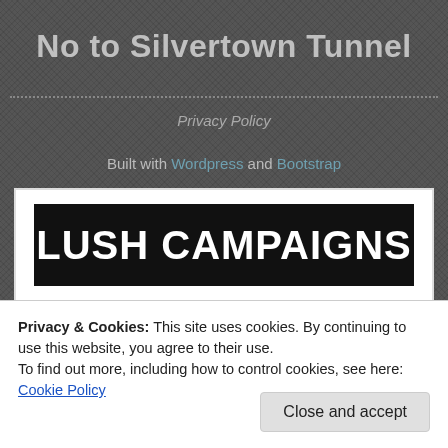No to Silvertown Tunnel
Privacy Policy
Built with Wordpress and Bootstrap
[Figure (logo): LUSH CAMPAIGNS logo — white bold text on black rectangular background]
[Figure (logo): www.cleanairuk.org text logo — large bold black and blue text on white background]
Privacy & Cookies: This site uses cookies. By continuing to use this website, you agree to their use.
To find out more, including how to control cookies, see here: Cookie Policy
Close and accept